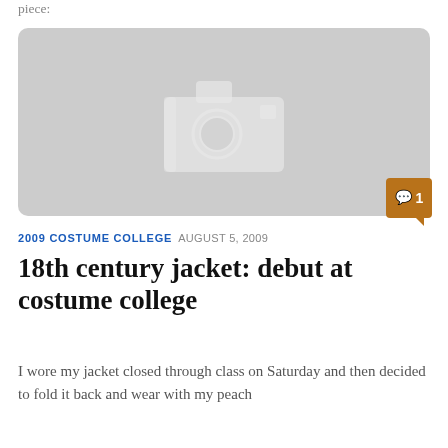piece:
[Figure (photo): Placeholder image with camera icon on gray background, with a brown comment badge showing '1' in the bottom right corner]
2009 COSTUME COLLEGE  AUGUST 5, 2009
18th century jacket: debut at costume college
I wore my jacket closed through class on Saturday and then decided to fold it back and wear with my peach